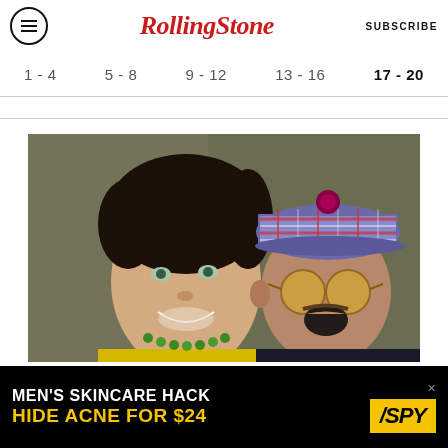Rolling Stone — SUBSCRIBE
1 - 4   5 - 8   9 - 12   13 - 16   17 - 20
[Figure (photo): Selfie photo of two men smiling outdoors. Left person wears yellow shirt with green bead necklace. Right person wears a colorful plaid flat cap with a pom-pom and yellow-tinted round glasses, mouth open in laughter.]
[Figure (infographic): Advertisement banner: MEN'S SKINCARE HACK — HIDE ACNE FOR $24, with SPY logo on yellow background]